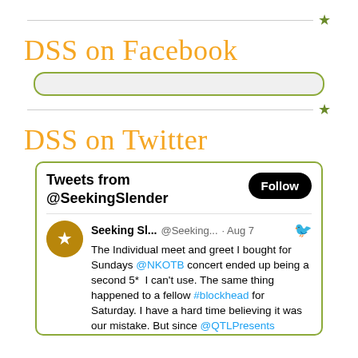DSS on Facebook
[Figure (other): Horizontal rule with green star decoration]
DSS on Twitter
[Figure (screenshot): Twitter widget showing Tweets from @SeekingSlender with a Follow button and a tweet from Seeking Sl... @Seeking... · Aug 7: The Individual meet and greet I bought for Sundays @NKOTB concert ended up being a second 5* I can't use. The same thing happened to a fellow #blockhead for Saturday. I have a hard time believing it was our mistake. But since @QTLPresents]